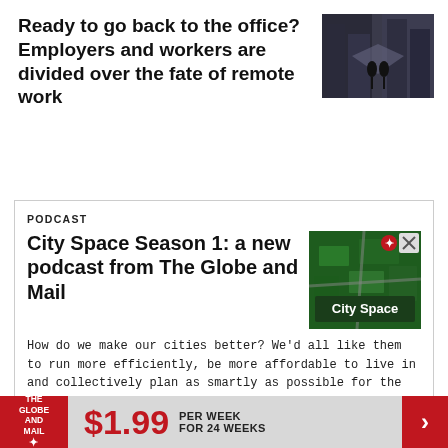Ready to go back to the office? Employers and workers are divided over the fate of remote work
[Figure (photo): Aerial or street photo of office building / urban scene with people]
PODCAST
City Space Season 1: a new podcast from The Globe and Mail
[Figure (photo): City Space podcast cover art — green aerial city view with 'City Space' text overlay]
How do we make our cities better? We'd all like them to run more efficiently, be more affordable to live in and collectively plan as smartly as possible for the continuing impacts of climate change — but how do we actually achieve those things?
[Figure (other): Ad banner: The Globe and Mail logo, $1.99 per week for 24 weeks promotion with red arrow]
$1.99 PER WEEK FOR 24 WEEKS